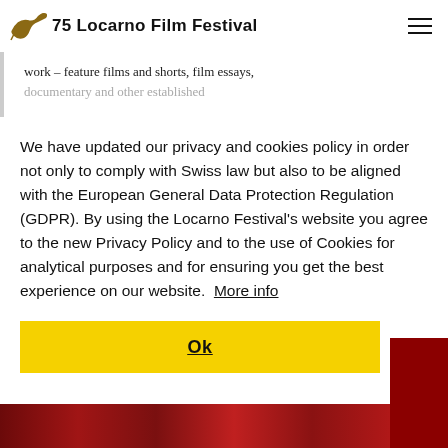75 Locarno Film Festival
work – feature films and shorts, film essays, documentary and other established
We have updated our privacy and cookies policy in order not only to comply with Swiss law but also to be aligned with the European General Data Protection Regulation (GDPR). By using the Locarno Festival's website you agree to the new Privacy Policy and to the use of Cookies for analytical purposes and for ensuring you get the best experience on our website.  More info
Ok
[Figure (photo): Bottom portion showing a dark red/crimson image, partially visible at the bottom of the page]